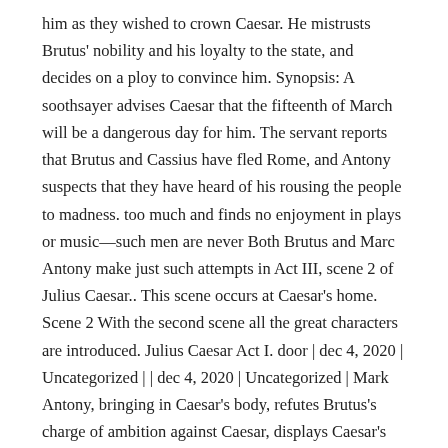him as they wished to crown Caesar. He mistrusts Brutus' nobility and his loyalty to the state, and decides on a ploy to convince him. Synopsis: A soothsayer advises Caesar that the fifteenth of March will be a dangerous day for him. The servant reports that Brutus and Cassius have fled Rome, and Antony suspects that they have heard of his rousing the people to madness. too much and finds no enjoyment in plays or music—such men are never Both Brutus and Marc Antony make just such attempts in Act III, scene 2 of Julius Caesar.. This scene occurs at Caesar's home. Scene 2 With the second scene all the great characters are introduced. Julius Caesar Act I. door | dec 4, 2020 | Uncategorized | | dec 4, 2020 | Uncategorized | Mark Antony, bringing in Caesar's body, refutes Brutus's charge of ambition against Caesar, displays Caesar's wounds, and reveals that Caesar had made the common people his heirs. All rights reserved. Brutus and Cassius enter the Forum with a crowd of plebeians. Removing #book# him to beware the Ides of March. Caesar and Antony exit, with the latter calming Caesar's fears. The plebeians are celebrating Caesar's victory over the sons of Pompey, one of the former leaders of Rome. Then follow me,